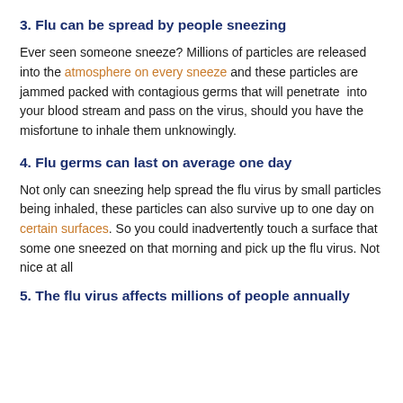3. Flu can be spread by people sneezing
Ever seen someone sneeze? Millions of particles are released into the atmosphere on every sneeze and these particles are jammed packed with contagious germs that will penetrate into your blood stream and pass on the virus, should you have the misfortune to inhale them unknowingly.
4. Flu germs can last on average one day
Not only can sneezing help spread the flu virus by small particles being inhaled, these particles can also survive up to one day on certain surfaces. So you could inadvertently touch a surface that some one sneezed on that morning and pick up the flu virus. Not nice at all
5. The flu virus affects millions of people annually